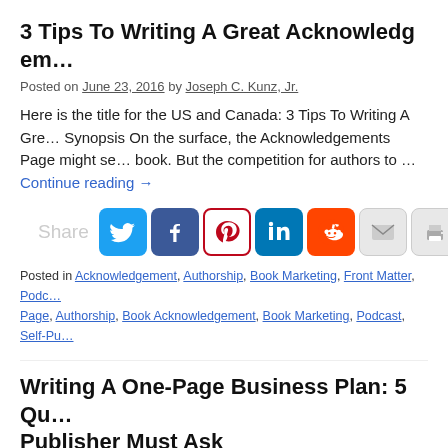3 Tips To Writing A Great Acknowledgem...
Posted on June 23, 2016 by Joseph C. Kunz, Jr.
Here is the title for the US and Canada: 3 Tips To Writing A Gre... Synopsis On the surface, the Acknowledgements Page might se... book. But the competition for authors to … Continue reading →
[Figure (infographic): Share buttons for Twitter, Facebook, Pinterest, LinkedIn, Reddit, Email, Print]
Posted in Acknowledgement, Authorship, Book Marketing, Front Matter, Pode... Page, Authorship, Book Acknowledgement, Book Marketing, Podcast, Self-Pu...
Writing A One-Page Business Plan: 5 Que... Publisher Must Ask
Posted on June 6, 2016 by Joseph C. Kunz, Jr.
Click here to download this PDF ebook excerpt... Synopsis: Wh...